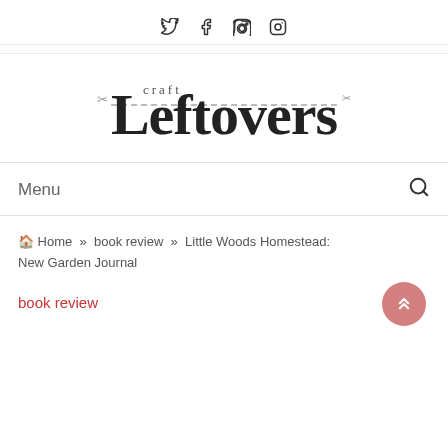Social icons: Twitter, Facebook, Pinterest, Instagram
[Figure (logo): Craft Leftovers logo with large serif text 'Leftovers' and 'craft' above in small caps, with dashed line and scissor decorations]
Menu
Home » book review » Little Woods Homestead: New Garden Journal
book review